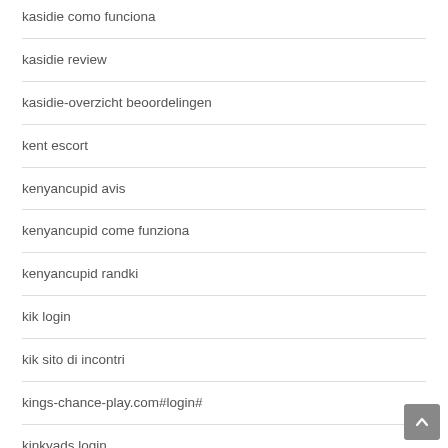kasidie como funciona
kasidie review
kasidie-overzicht beoordelingen
kent escort
kenyancupid avis
kenyancupid come funziona
kenyancupid randki
kik login
kik sito di incontri
kings-chance-play.com#login#
kinkyads login
knoxville escort
knoxville escort service